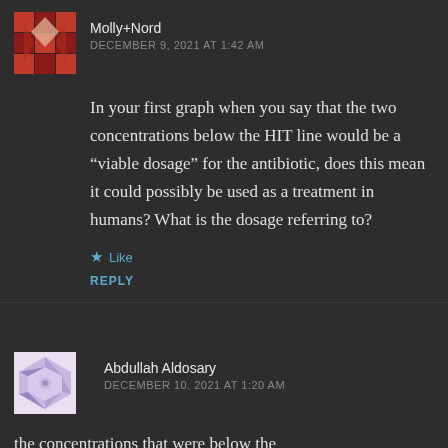[Figure (illustration): Avatar icon for user Molly+Nord, red/brown geometric quilt pattern]
Molly+Nord
DECEMBER 9, 2021 AT 1:42 AM
In your first graph when you say that the two concentrations below the HIT line would be a “viable dosage” for the antibiotic, does this mean it could possibly be used as a treatment in humans? What is the dosage referring to?
Like
REPLY
[Figure (illustration): Avatar icon for user Abdullah Aldosary, light purple geometric quilt pattern]
Abdullah Aldosary
DECEMBER 10, 2021 AT 1:20 AM
the concentrations that were below the